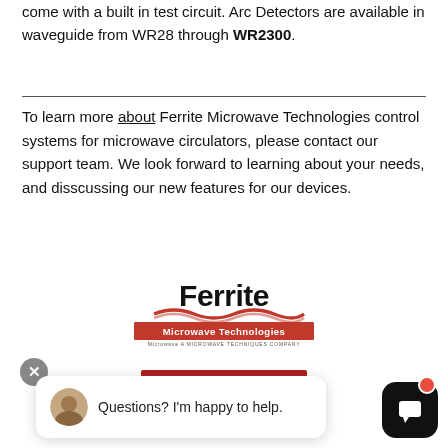come with a built in test circuit. Arc Detectors are available in waveguide from WR28 through WR2300.
To learn more about Ferrite Microwave Technologies control systems for microwave circulators, please contact our support team. We look forward to learning about your needs, and disscussing our new features for our devices.
[Figure (logo): Ferrite Microwave Technologies logo with red wave and red bar reading 'Microwave Technologies', subtext 'Microwave A Microwave Techniques Company']
[Figure (other): Red CONTACT SUPPORT button]
[Figure (screenshot): Chat popup with close X button, avatar, text 'Questions? I'm happy to help.' and chat icon with red dot]